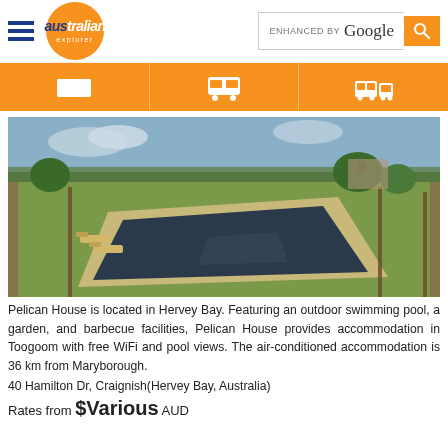australian explorer | ENHANCED BY Google
[Figure (photo): Aerial view of Pelican House outdoor swimming pool surrounded by green lawn, fencing, and trees in Hervey Bay, Australia]
Pelican House is located in Hervey Bay. Featuring an outdoor swimming pool, a garden, and barbecue facilities, Pelican House provides accommodation in Toogoom with free WiFi and pool views. The air-conditioned accommodation is 36 km from Maryborough.
40 Hamilton Dr, Craignish(Hervey Bay, Australia)
Rates from $Various AUD